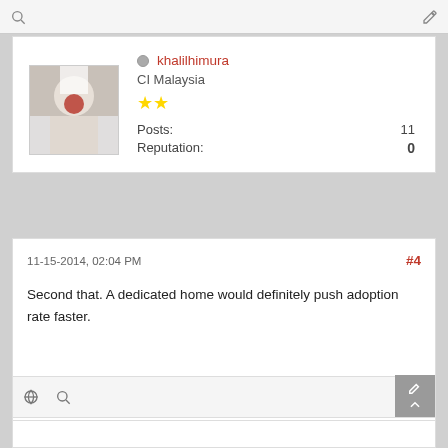[Figure (screenshot): Forum post page showing user profile card and post content]
khalilhimura
CI Malaysia
Posts: 11
Reputation: 0
11-15-2014, 02:04 PM
#4
Second that. A dedicated home would definitely push adoption rate faster.